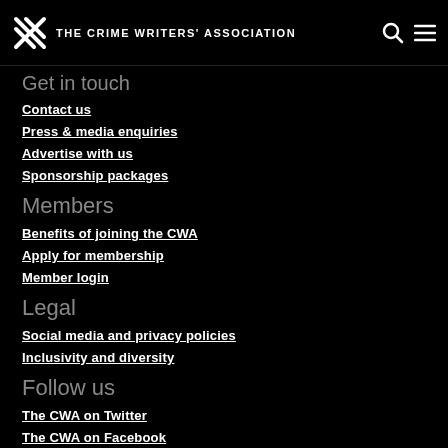THE CRIME WRITERS' ASSOCIATION
Get in touch
Contact us
Press & media enquiries
Advertise with us
Sponsorship packages
Members
Benefits of joining the CWA
Apply for membership
Member login
Legal
Social media and privacy policies
Inclusivity and diversity
Follow us
The CWA on Twitter
The CWA on Facebook
The CWA on Facebook